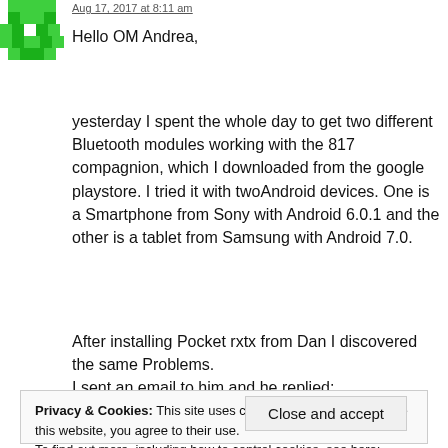[Figure (illustration): Green pixel avatar icon]
Aug 17, 2017 at 8:11 am
Hello OM Andrea,
yesterday I spent the whole day to get two different Bluetooth modules working with the 817 compagnion, which I downloaded from the google playstore. I tried it with twoAndroid devices. One is a Smartphone from Sony with Android 6.0.1 and the other is a tablet from Samsung with Android 7.0.
After installing Pocket rxtx from Dan I discovered the same Problems.
I sent an email to him and he replied:
Privacy & Cookies: This site uses cookies. By continuing to use this website, you agree to their use.
To find out more, including how to control cookies, see here: Cookie Policy
Close and accept
Dan gave me a link for a newer version of his software